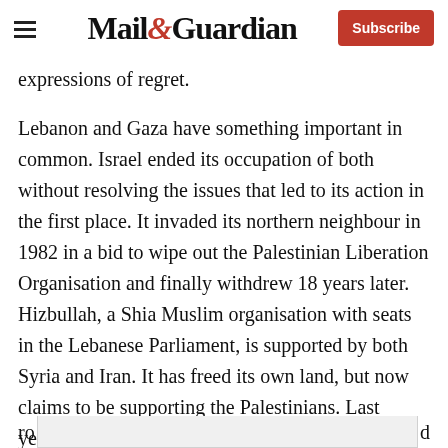Mail&Guardian — Subscribe
expressions of regret.
Lebanon and Gaza have something important in common. Israel ended its occupation of both without resolving the issues that led to its action in the first place. It invaded its northern neighbour in 1982 in a bid to wipe out the Palestinian Liberation Organisation and finally withdrew 18 years later. Hizbullah, a Shia Muslim organisation with seats in the Lebanese Parliament, is supported by both Syria and Iran. It has freed its own land, but now claims to be supporting the Palestinians. Last year's unilateral withdrawal from Gaza, after 38 years, has solved nothing. The Hamas government should exercise its responsibility and stop ro[...]d